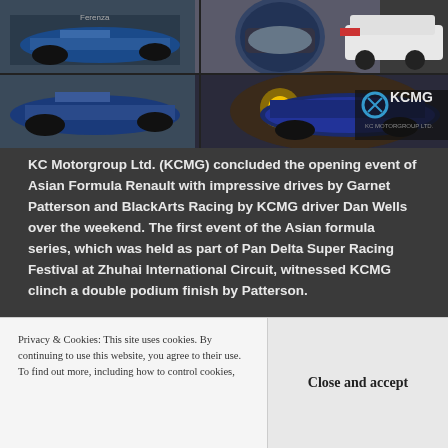[Figure (photo): Collage of racing cars including formula cars and Porsche GT3 cup car, with KCMG KC Motorgroup Ltd. logo in bottom right corner]
KC Motorgroup Ltd. (KCMG) concluded the opening event of Asian Formula Renault with impressive drives by Garnet Patterson and BlackArts Racing by KCMG driver Dan Wells over the weekend. The first event of the Asian formula series, which was held as part of Pan Delta Super Racing Festival at Zhuhai International Circuit, witnessed KCMG clinch a double podium finish by Patterson.
[Figure (photo): Partial image of a blue racing car on track, blurred background]
Asian
Privacy & Cookies: This site uses cookies. By continuing to use this website, you agree to their use.
To find out more, including how to control cookies,
Close and accept